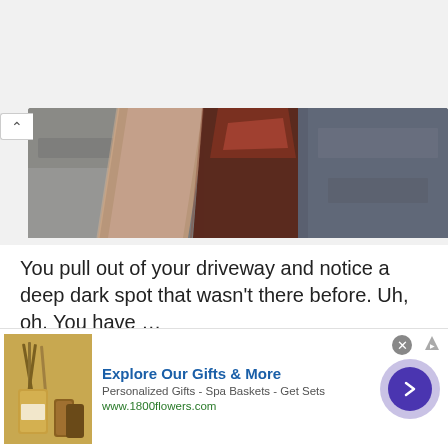[Figure (photo): Close-up photograph of textured stone or concrete surfaces with multiple colors including gray, beige/pink, dark red/brown, and dark blue-gray, resembling a driveway or pavement.]
You pull out of your driveway and notice a deep dark spot that wasn’t there before. Uh, oh. You have …
Read More
[Figure (infographic): Advertisement banner for 1800flowers.com. Shows gift products image on left, bold blue text 'Explore Our Gifts & More', subtitle 'Personalized Gifts - Spa Baskets - Get Sets', green URL 'www.1800flowers.com', close button (X), and a purple arrow navigation button on right.]